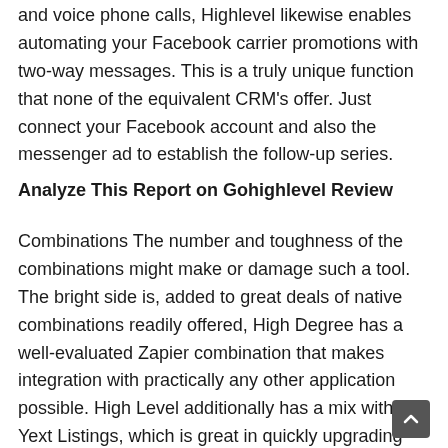and voice phone calls, Highlevel likewise enables automating your Facebook carrier promotions with two-way messages. This is a truly unique function that none of the equivalent CRM's offer. Just connect your Facebook account and also the messenger ad to establish the follow-up series.
Analyze This Report on Gohighlevel Review
Combinations The number and toughness of the combinations might make or damage such a tool. The bright side is, added to great deals of native combinations readily offered, High Degree has a well-evaluated Zapier combination that makes integration with practically any other application possible. High Level additionally has a mix with Yext Listings, which is great in quickly upgrading the contact information of regional companies across many channels & directory